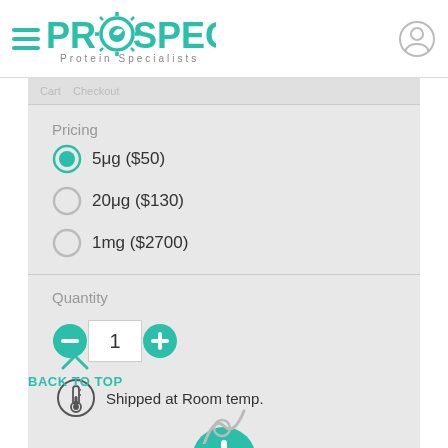[Figure (logo): ProSpec Protein Specialists logo with hamburger menu icon on the left and user account icon on the right]
Pricing
5μg ($50) — selected radio button
20μg ($130)
1mg ($2700)
Quantity
1
Shipped at Room temp.
BACK TO TOP